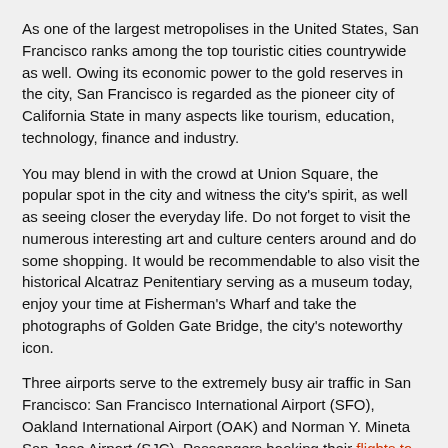As one of the largest metropolises in the United States, San Francisco ranks among the top touristic cities countrywide as well. Owing its economic power to the gold reserves in the city, San Francisco is regarded as the pioneer city of California State in many aspects like tourism, education, technology, finance and industry.
You may blend in with the crowd at Union Square, the popular spot in the city and witness the city's spirit, as well as seeing closer the everyday life. Do not forget to visit the numerous interesting art and culture centers around and do some shopping. It would be recommendable to also visit the historical Alcatraz Penitentiary serving as a museum today, enjoy your time at Fisherman's Wharf and take the photographs of Golden Gate Bridge, the city's noteworthy icon.
Three airports serve to the extremely busy air traffic in San Francisco: San Francisco International Airport (SFO), Oakland International Airport (OAK) and Norman Y. Mineta San Jose Airport (SJC). Passengers booking their flights to San Francisco with Turkish Airlines land at San Francisco International Airport (SFO).
Transportation from San Francisco International Airport